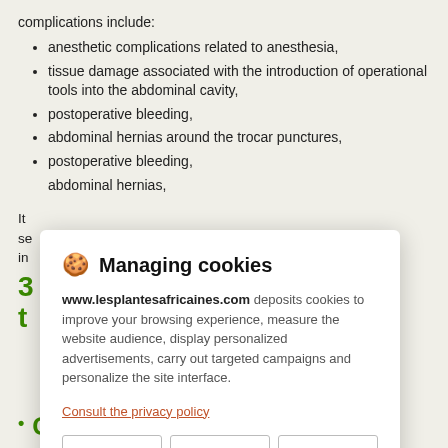complications include:
anesthetic complications related to anesthesia,
tissue damage associated with the introduction of operational tools into the abdominal cavity,
postoperative bleeding,
abdominal hernias around the trocar punctures,
postoperative bleeding,
abdominal hernias,
It ... se... in...
3 t
[Figure (screenshot): Cookie consent dialog for www.lesplantesafricaines.com with title 'Managing cookies', description text, a 'Consult the privacy policy' link, and three buttons: Refuse, Settings, Accept.]
Ginger root